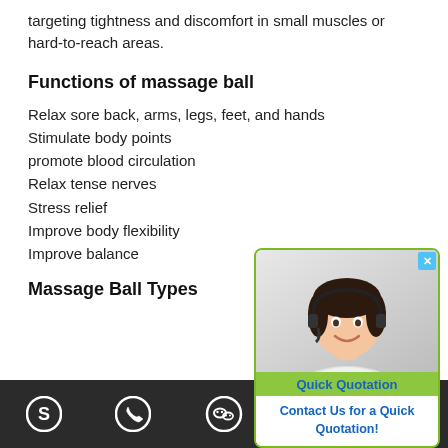targeting tightness and discomfort in small muscles or hard-to-reach areas.
Functions of massage ball
Relax sore back, arms, legs, feet, and hands
Stimulate body points
promote blood circulation
Relax tense nerves
Stress relief
Improve body flexibility
Improve balance
[Figure (photo): Customer service representative popup widget with Quick Quotation button]
Massage Ball Types
Skype | Phone | WeChat | Email | Scroll to top icons